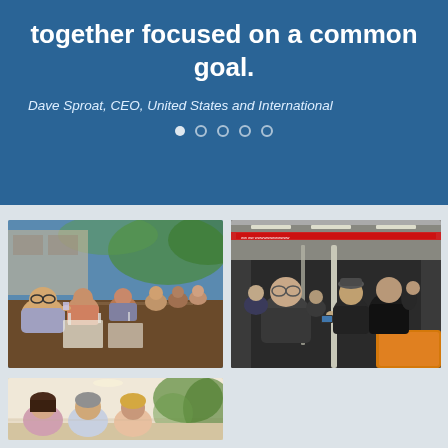together focused on a common goal.
Dave Sproat, CEO, United States and International
[Figure (photo): Group of people dining together at a long outdoor table, raising glasses]
[Figure (photo): Group of people standing and posing inside a subway/tram car]
[Figure (photo): Partial view of people in a bright indoor setting with plants]